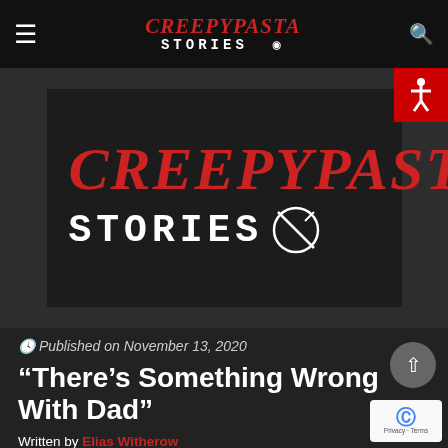Creepypasta Stories
[Figure (logo): Creepypasta Stories logo - large version with red italic Creepypasta text above white uppercase STORIES text with crossed-circle symbol]
Published on November 13, 2020
“There’s Something Wrong With Dad”
Written by Elias Witherow
Edited by Craig Groshek
Thumbnail Art by Craig Groshek